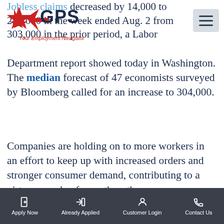[Figure (logo): GPS - Your Employment Navigator logo with red star and arrow icon and dark blue GPS text]
Jobless claims decreased by 14,000 to 289,000 in the week ended Aug. 2 from 303,000 in the prior period, a Labor Department report showed today in Washington. The median forecast of 47 economists surveyed by Bloomberg called for an increase to 304,000.
Companies are holding on to more workers in an effort to keep up with increased orders and stronger consumer demand, contributing to a virtuous cycle of growth as the economy accelerates. Fewer layoffs and more jobs would account for the continuing...
Apply Now | Already Applied | Customer Login | Contact Us